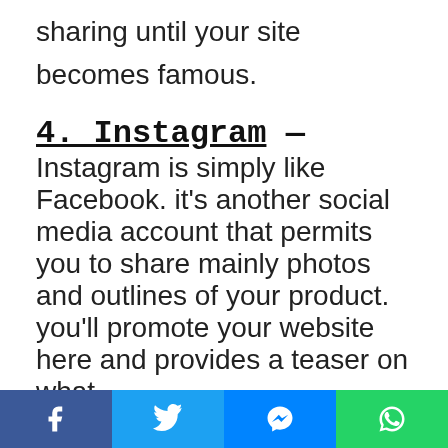one must pay any fees, continue sharing until your site becomes famous.
4. Instagram – Instagram is simply like Facebook. it's another social media account that permits you to share mainly photos and outlines of your product. you'll promote your website here and provides a teaser on what
Facebook | Twitter | Messenger | WhatsApp